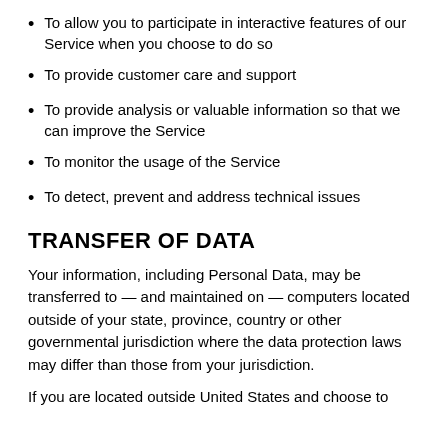To allow you to participate in interactive features of our Service when you choose to do so
To provide customer care and support
To provide analysis or valuable information so that we can improve the Service
To monitor the usage of the Service
To detect, prevent and address technical issues
TRANSFER OF DATA
Your information, including Personal Data, may be transferred to — and maintained on — computers located outside of your state, province, country or other governmental jurisdiction where the data protection laws may differ than those from your jurisdiction.
If you are located outside United States and choose to